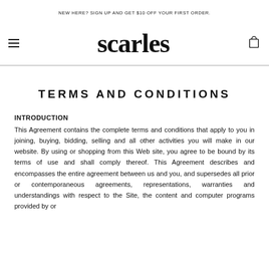NEW HERE? SIGN UP AND GET $10 OFF YOUR FIRST ORDER.
[Figure (logo): Scarles brand logo in blackletter/gothic font]
TERMS AND CONDITIONS
INTRODUCTION
This Agreement contains the complete terms and conditions that apply to you in joining, buying, bidding, selling and all other activities you will make in our website. By using or shopping from this Web site, you agree to be bound by its terms of use and shall comply thereof. This Agreement describes and encompasses the entire agreement between us and you, and supersedes all prior or contemporaneous agreements, representations, warranties and understandings with respect to the Site, the content and computer programs provided by or